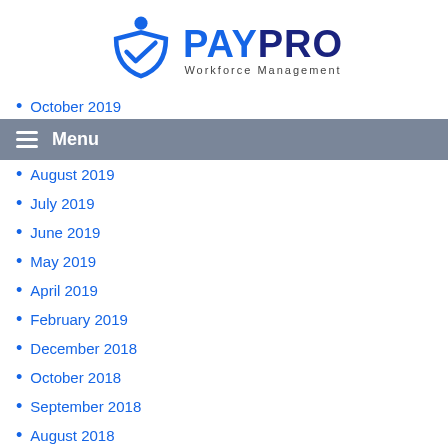[Figure (logo): PayPro Workforce Management logo with blue shield/checkmark icon and stylized text]
October 2019 (partially visible/truncated)
Menu
August 2019
July 2019
June 2019
May 2019
April 2019
February 2019
December 2018
October 2018
September 2018
August 2018
July 2018
May 2018
April 2018